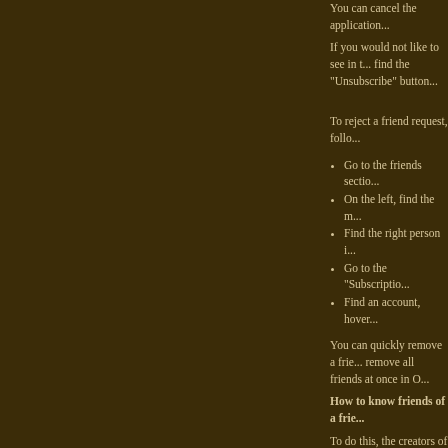You can cancel the application...
If you would not like to see in t... find the “Unsubscribe” button...
To reject a friend request, follo...
Go to the friends sectio...
On the left, find the m...
Find the right person i...
Go to the "Subscriptio...
Find an account, hover...
You can quickly remove a frie... remove all friends at once in O...
How to know friends of a frie...
To do this, the creators of the s... the found friend’s profile. If yo... friends” in the menu on the lef... Odnoklassniki is not a proble...
How to find out your friends...
How to find out your friends...
Sometimes people leave on the... is easier to do with a small list...
How to find out who are frie...